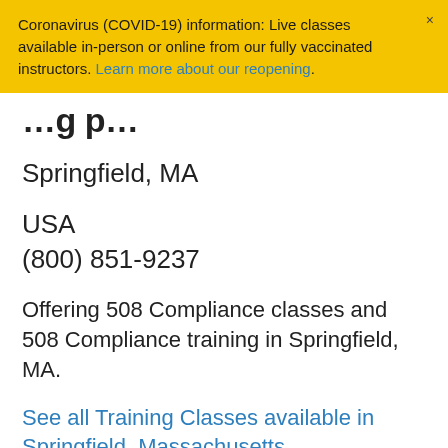Coronavirus (COVID-19) information: Live classes available in-person or online from our fully vaccinated instructors. Learn more about our reopening.
…g p…
Springfield, MA
USA
(800) 851-9237
Offering 508 Compliance classes and 508 Compliance training in Springfield, MA.
See all Training Classes available in Springfield, Massachusetts.
See all locations for 508 Compliance Classes